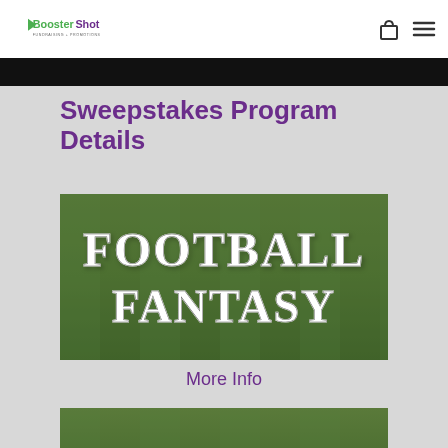BoosterShot Fundraising + Promotions
Sweepstakes Program Details
[Figure (illustration): Football Fantasy text on green grass background]
More Info
[Figure (illustration): Football text on green grass background (partial, cropped at bottom)]